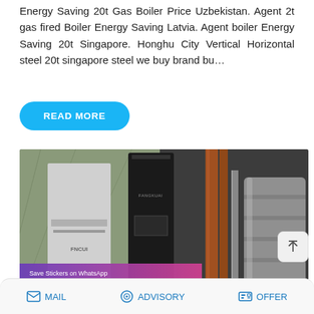Energy Saving 20t Gas Boiler Price Uzbekistan. Agent 2t gas fired Boiler Energy Saving Latvia. Agent boiler Energy Saving 20t Singapore. Honghu City Vertical Horizontal steel 20t singapore steel we buy brand bu…
[Figure (other): Blue rounded rectangle button labeled READ MORE]
[Figure (photo): Industrial boiler room showing tall black boiler unit (FANGKUAI brand), white boiler unit, copper/brown pipes on right side, cylindrical horizontal boiler tanks, with a WhatsApp sticker overlay at bottom showing phone and emoji icons on a purple-to-pink gradient background with text 'Save Stickers on WhatsApp']
MAIL   ADVISORY   OFFER